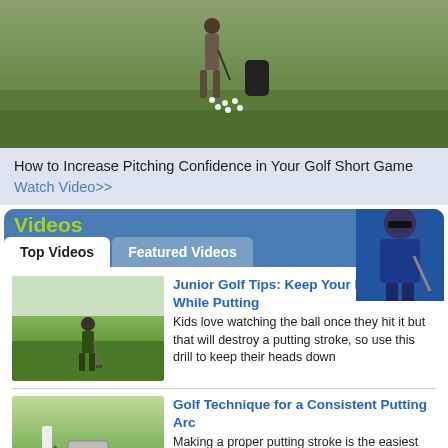[Figure (photo): Golf driving range scene with a golfer standing on green grass, golf balls scattered on the ground, dark background]
How to Increase Pitching Confidence in Your Golf Short Game Watch Video>>
Videos
Top Videos | Featured Videos
[Figure (photo): Junior golfer putting on a green golf course]
Junior Golf Tips: Keep Your Head Down While Putting
Kids love watching the ball once they hit it but that will destroy a putting stroke, so use this drill to keep their heads down
[Figure (photo): Golf putting arc training aid on putting green]
Golf Technique for a Consistent Putting Arc
Making a proper putting stroke is the easiest part of putting, using the Putting Arc will teach you how to groove your stoke so that it is perfect every time
[Figure (photo): Golfer on course - How to do Deliberate Golf]
How to do Deliberate Golf